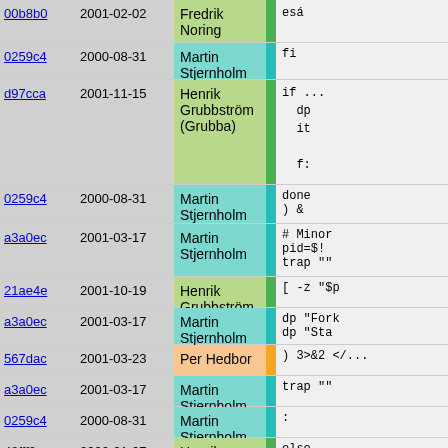| Hash | Date | Author |  | Code |
| --- | --- | --- | --- | --- |
| 00b8b0 | 2001-02-02 | Fredrik Noring |  | es... |
| 0259c4 | 2000-08-31 | Martin Stjernholm |  | fi |
| d97cca | 2001-11-15 | Henrik Grubbström (Grubba) |  | if ...
  dp
  it

  f:

fi
dp ... |
| 0259c4 | 2000-08-31 | Martin Stjernholm |  | done
) & |
| a3a0ec | 2001-03-17 | Martin Stjernholm |  | # Minor
pid=$!
trap "" |
| 21ae4e | 2001-10-19 | Henrik Grubbström (Grubba) |  | [ -z "$p |
| a3a0ec | 2001-03-17 | Martin Stjernholm |  | dp "Fork
dp "Sta |
| 567dac | 2001-03-23 | Per Hedbor |  | ) 3>&2 </... |
| a3a0ec | 2001-03-17 | Martin Stjernholm |  | trap "" |
| 0259c4 | 2000-08-31 | Martin Stjernholm |  | : |
| 49fff3 | 2000-01-27 | Henrik Grubbström (Grubba) |  | else |
| ff3b9a | 2000-08-09 | Per Hedbor |  | dp 'Fai |